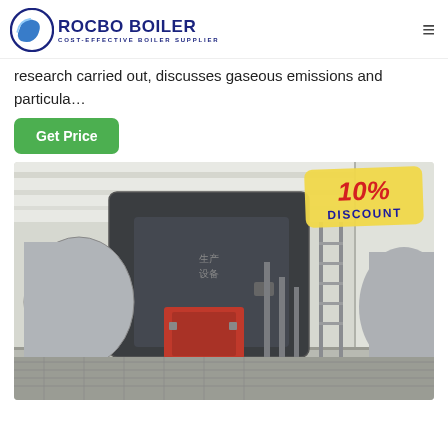[Figure (logo): Rocbo Boiler logo with circular swoosh icon and text 'ROCBO BOILER - COST-EFFECTIVE BOILER SUPPLIER']
research carried out, discusses gaseous emissions and particula…
Get Price
[Figure (photo): Industrial boiler equipment in a factory/warehouse setting. Large cylindrical boiler with red burner component, pipes and scaffolding, white industrial building interior. Overlay shows '10% DISCOUNT' badge.]